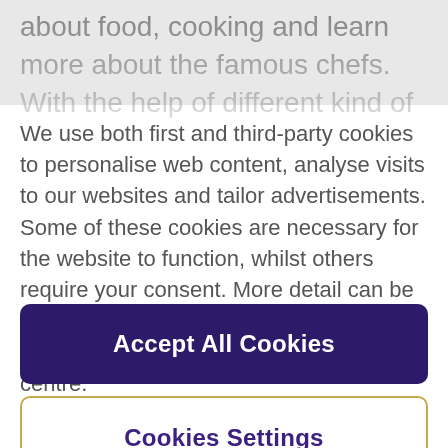about food, cooking and learn more about the famous chefs. With the help of different kind of
We use both first and third-party cookies to personalise web content, analyse visits to our websites and tailor advertisements. Some of these cookies are necessary for the website to function, whilst others require your consent. More detail can be found in our cookie policy and you can tailor your choices in the preference centre.
Accept All Cookies
Cookies Settings